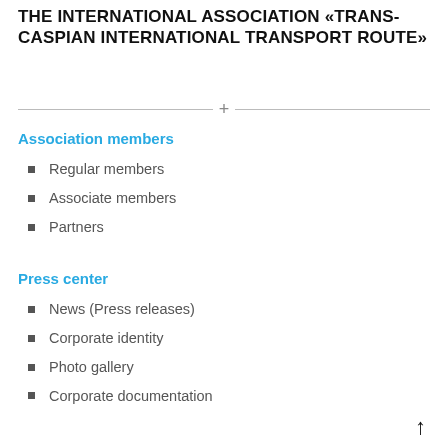THE INTERNATIONAL ASSOCIATION «TRANS-CASPIAN INTERNATIONAL TRANSPORT ROUTE»
Association members
Regular members
Associate members
Partners
Press center
News (Press releases)
Corporate identity
Photo gallery
Corporate documentation